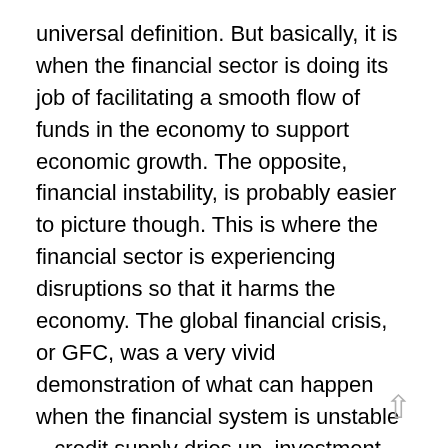universal definition. But basically, it is when the financial sector is doing its job of facilitating a smooth flow of funds in the economy to support economic growth. The opposite, financial instability, is probably easier to picture though. This is where the financial sector is experiencing disruptions so that it harms the economy. The global financial crisis, or GFC, was a very vivid demonstration of what can happen when the financial system is unstable – credit supply dries up, investment and consumption fall and unemployment rises. So there is a very human cost to financial instability.
While we at the Reserve Bank do not have responsibility for the supervision of financial institutions, we do have an important role in monitoring the financial system as a whole and the economy for financial imbalances that could lead to instability. We typically